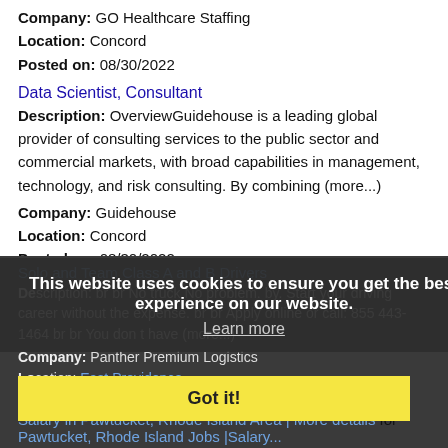Company: GO Healthcare Staffing
Location: Concord
Posted on: 08/30/2022
Data Scientist, Consultant
Description: OverviewGuidehouse is a leading global provider of consulting services to the public sector and commercial markets, with broad capabilities in management, technology, and risk consulting. By combining (more...)
Company: Guidehouse
Location: Concord
Posted on: 08/30/2022
Solo and Team Class A and B Drivers
Description: br br No truck No problem. by. Start your driving career without the expense. br br Apply online or call: 855 443-1464 br br You don t have (more...)
Company: Panther Premium Logistics
Location: East Providence
Posted on: 08/30/2022
This website uses cookies to ensure you get the best experience on our website.
Learn more
Got it!
Salary in Pawtucket, Rhode Island Area | More details for Pawtucket, Rhode Island Jobs |Salary...